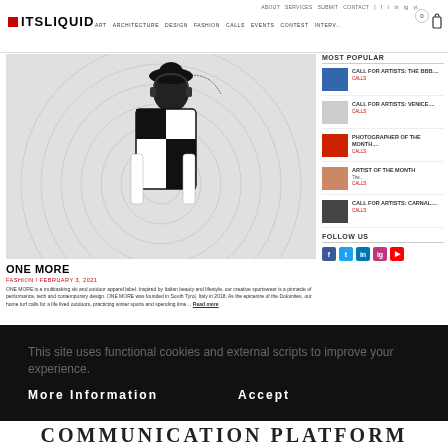ITSLIQUID | ART ARCHITECTURE DESIGN FASHION CALLS EVENTS CONTEST INTERV...
[Figure (photo): Fashion photo of a person in black and white outfit with headphones, surrounded by concentric circular background]
ONE MORE
FASHION / FEBRUARY 3, 2021
ONE MORE is a multitasking ski and outdoor apparel label. Inspired by Italian beauty and lifestyle, our creative sportswear is a pinnacle of performance, tech and contemporary design. ONE MORE was founded in South Tyrol, Italy in 2018. As the epicentre of the Dolomites, our home turf calls for a life lived outdoors, practicing winter sports and spending time... Read more
MOST POPULAR
CALL FOR ARTISTS: THE BBB.... CALLS
CALL FOR ARTISTS: VENICE.... CALLS
PHOTOGRAPHER OF THE MONTH.... CALLS
ARTIST OF THE MONTH The... CALLS
CALL FOR ARTISTS: CARNAL.... CALLS
FOLLOW US
This site uses functional cookies and external scripts to improve your experience.
More Information    Accept
COMMUNICATION PLATFORM